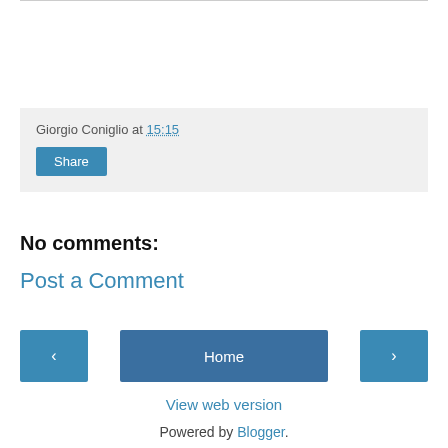Giorgio Coniglio at 15:15
Share
No comments:
Post a Comment
‹
Home
›
View web version
Powered by Blogger.